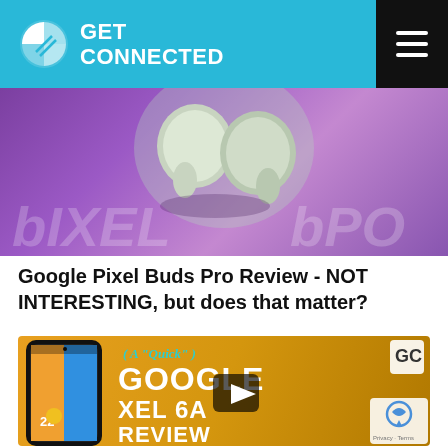GET CONNECTED
[Figure (photo): Google Pixel Buds Pro earbuds on a purple/violet background with 'PIXEL' and 'bPO' text overlay]
Google Pixel Buds Pro Review - NOT INTERESTING, but does that matter?
[Figure (screenshot): Video thumbnail for a quick Google Pixel 6A review, showing a smartphone with colorful interface on an orange/yellow background with a play button overlay]